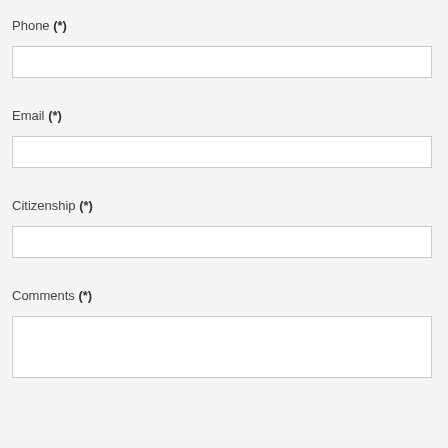Phone (*)
Email (*)
Citizenship (*)
Comments (*)